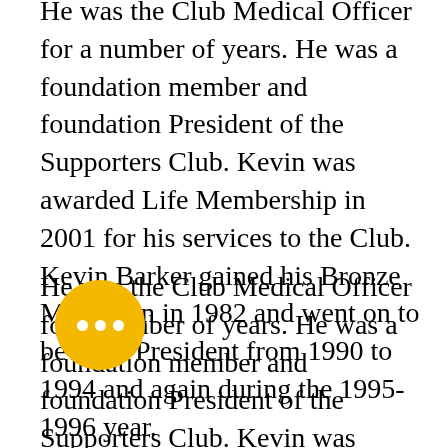He was the Club Medical Officer for a number of years. He was a foundation member and foundation President of the Supporters Club. Kevin was awarded Life Membership in 2001 for his services to the Club. Kevin Barker gained his Bronze Medallion in 1982 and went on to be Club President from 1990 to 1994 and again during the 1995-1996 year.
He was the Club Medical Officer for a number of years. He was a foundation member and foundation President of the Supporters Club. Kevin was awarded Life Membership in 2001 for his services to the Club. Kevin Barker gained his Bronze Medallion in 1982 and went on to be Club President from 1990 to 1994 and again during the 1995-1996 year.